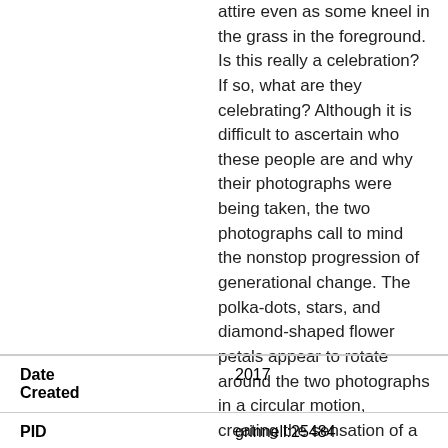attire even as some kneel in the grass in the foreground. Is this really a celebration? If so, what are they celebrating? Although it is difficult to ascertain who these people are and why their photographs were being taken, the two photographs call to mind the nonstop progression of generational change. The polka-dots, stars, and diamond-shaped flower petals appear to rotate around the two photographs in a circular motion, creating the sensation of a whirlpool in constant revolution. In what ways do generational shifts impact how we visualize freedom today?
| Field | Value |
| --- | --- |
| Date Created | 2017 |
| PID | grinnell:25484 |